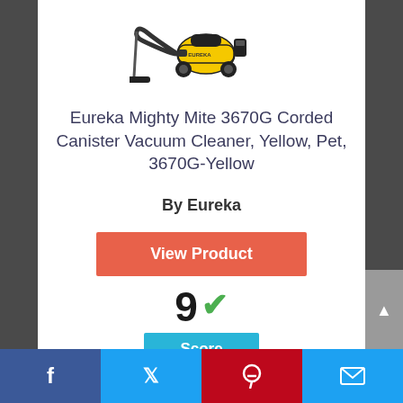[Figure (photo): Eureka Mighty Mite canister vacuum cleaner, yellow and black, shown from the side with hose and floor nozzle attachment.]
Eureka Mighty Mite 3670G Corded Canister Vacuum Cleaner, Yellow, Pet, 3670G-Yellow
By Eureka
View Product
9 ✓ Score
Facebook  Twitter  Pinterest  Email